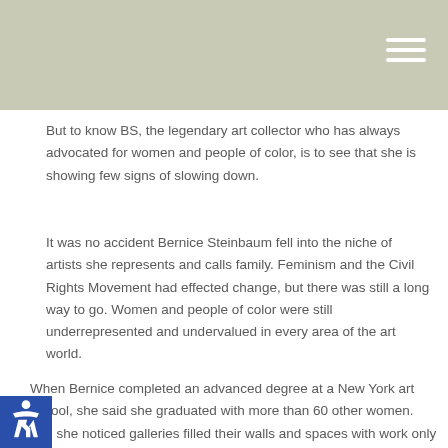But to know BS, the legendary art collector who has always advocated for women and people of color, is to see that she is showing few signs of slowing down.
It was no accident Bernice Steinbaum fell into the niche of artists she represents and calls family. Feminism and the Civil Rights Movement had effected change, but there was still a long way to go. Women and people of color were still underrepresented and undervalued in every area of the art world.
When Bernice completed an advanced degree at a New York art school, she said she graduated with more than 60 other women. Yet, she noticed galleries filled their walls and spaces with work only by white